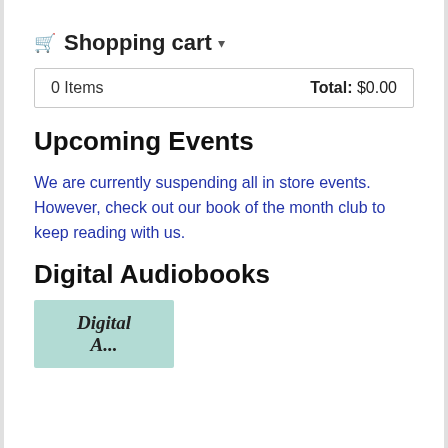🛒 Shopping cart ▾
| 0 Items | Total: $0.00 |
| --- | --- |
Upcoming Events
We are currently suspending all in store events. However, check out our book of the month club to keep reading with us.
Digital Audiobooks
[Figure (illustration): Teal/mint green book cover image showing 'Digital Audiobooks' text in cursive script, partially visible at bottom of page]